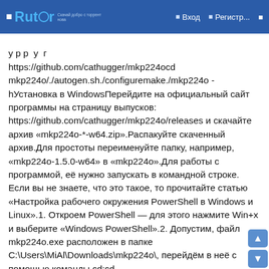Rutor — Вход — Регистр...
у р р  у  г
https://github.com/cathugger/mkp224ocd
mkp224o/./autogen.sh./configuremake./mkp224o -hУстановка в WindowsПерейдите на официальный сайт программы на страницу выпусков:
https://github.com/cathugger/mkp224o/releases и скачайте архив «mkp224o-*-w64.zip».Распакуйте скаченный архив.Для простоты переименуйте папку, например, «mkp224o-1.5.0-w64» в «mkp224o».Для работы с программой, её нужно запускать в командной строке. Если вы не знаете, что это такое, то прочитайте статью «Настройка рабочего окружения PowerShell в Windows и Linux».1. Откроем PowerShell — для этого нажмите Win+x и выберите «Windows PowerShell».2. Допустим, файл mkp224o.exe расположен в папке C:\Users\MiAl\Downloads\mkp224o\ , перейдём в неё с помощью команды cd:cd C:\Users\MiAl\Downloads\mkp224o\3. Для запуска генерации адресов скрытого сервиса Tor, запустите команду вида (замените hackware на нужное вам слово):./mkp224o.exe hackwareКак пользоваться mkp224o